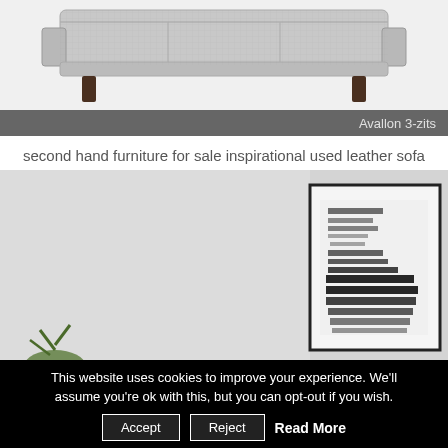[Figure (photo): Gray upholstered 3-seat sofa on white background, top portion visible]
Avallon 3-zits
second hand furniture for sale inspirational used leather sofa
[Figure (photo): Room interior with white/gray wall and framed black and white text art print visible on right side, green plant at bottom left]
This website uses cookies to improve your experience. We'll assume you're ok with this, but you can opt-out if you wish.
Accept  Reject  Read More